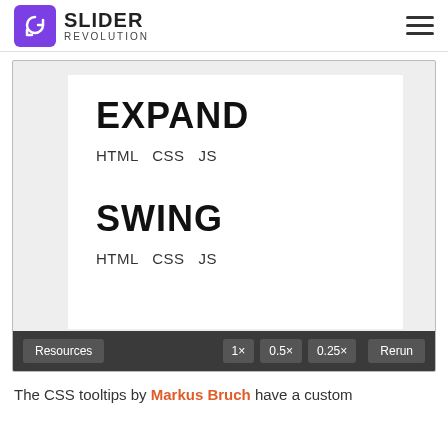SLIDER REVOLUTION
[Figure (screenshot): A code preview panel showing two entries: EXPAND with HTML CSS JS links, and SWING with HTML CSS JS links. A dark toolbar at bottom has Resources, 1x, 0.5x, 0.25x, and Rerun buttons.]
The CSS tooltips by Markus Bruch have a custom